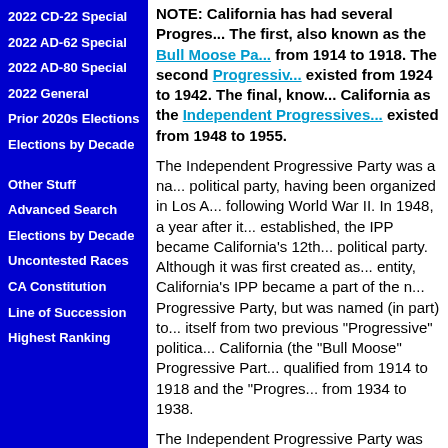2022 CD-22 Special
2022 AD-62 Special
2022 AD-80 Special
2022 General
Prior 2020s Elections
Elections by Decade
Other Stuff
Advanced Search
Elections by Decade
Uncontested Races
CA Constitution
Line of Succession
Highest Ranking
NOTE: California has had several Progres... The first, also known as the Bull Moose Pa... from 1914 to 1918. The second Progressive... existed from 1924 to 1942. The final, know... California as the Independent Progressives... existed from 1948 to 1955.
The Independent Progressive Party was a na... political party, having been organized in Los A... following World War II. In 1948, a year after it... established, the IPP became California's 12th... political party. Although it was first created as... entity, California's IPP became a part of the n... Progressive Party, but was named (in part) to... itself from two previous "Progressive" politica... California (the "Bull Moose" Progressive Part... qualified from 1914 to 1918 and the "Progres... from 1934 to 1938.
The Independent Progressive Party was crea... vehicle for electing Henry A. Wallace Preside... who had been a prominent Democratic Vice P... (elected in 1940, he served as Vice Presiden... final seven months of World War II). He woul... certainly have served as the 33rd President (